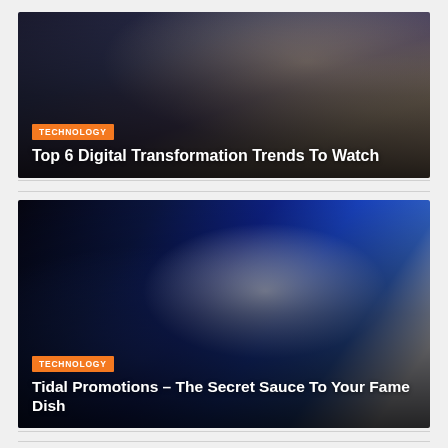[Figure (photo): Two people working on a laptop, viewed from behind, dark background with code visible on screen]
TECHNOLOGY
Top 6 Digital Transformation Trends To Watch
[Figure (photo): Man wearing headphones and glasses singing/playing guitar, blue stage lighting background]
TECHNOLOGY
Tidal Promotions – The Secret Sauce To Your Fame Dish